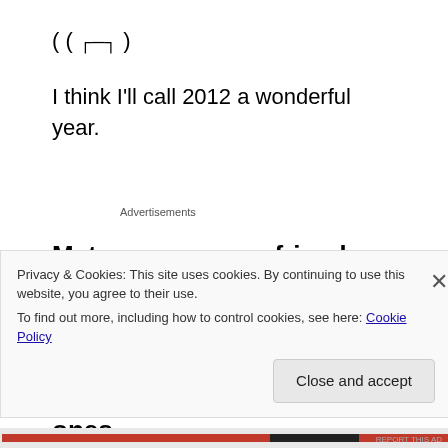( ͡°_͡°)
I think I'll call 2012 a wonderful year.
Advertisements
Met so many new friends who impacted me in so many ways (good and bad), and reformed stronger bonds with a couple of old ones.
Privacy & Cookies: This site uses cookies. By continuing to use this website, you agree to their use.
To find out more, including how to control cookies, see here: Cookie Policy